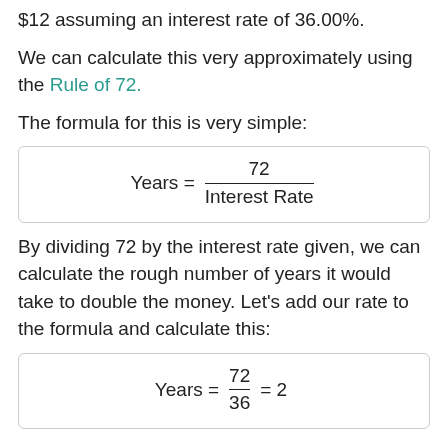$12 assuming an interest rate of 36.00%.
We can calculate this very approximately using the Rule of 72.
The formula for this is very simple:
By dividing 72 by the interest rate given, we can calculate the rough number of years it would take to double the money. Let's add our rate to the formula and calculate this: